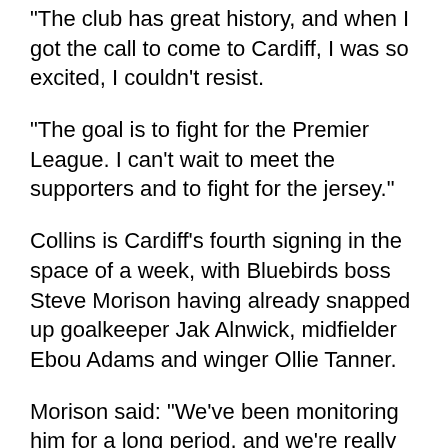“The club has great history, and when I got the call to come to Cardiff, I was so excited, I couldn’t resist.
“The goal is to fight for the Premier League. I can’t wait to meet the supporters and to fight for the jersey.”
Collins is Cardiff’s fourth signing in the space of a week, with Bluebirds boss Steve Morison having already snapped up goalkeeper Jak Alnwick, midfielder Ebou Adams and winger Ollie Tanner.
Morison said: “We’ve been monitoring him for a long period, and we’re really pleased to get him signed.